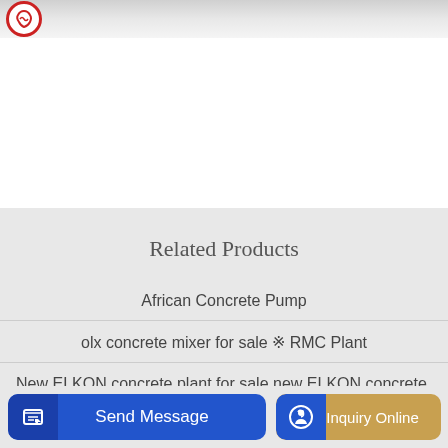[Figure (screenshot): Website header with red circular logo on grey/white gradient background]
Related Products
African Concrete Pump
olx concrete mixer for sale ※ RMC Plant
New ELKON concrete plant for sale new ELKON concrete plant
[Figure (screenshot): Bottom UI bar with Send Message button (blue) and Inquiry Online button (gold/yellow)]